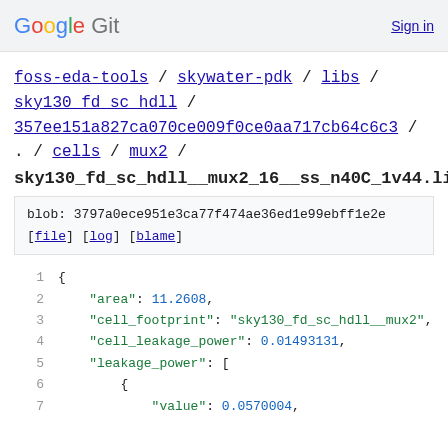Google Git  Sign in
foss-eda-tools / skywater-pdk / libs / sky130_fd_sc_hdll / 357ee151a827ca070ce009f0ce0aa717cb64c6c3 / . / cells / mux2 /
sky130_fd_sc_hdll__mux2_16__ss_n40C_1v44.lib.json
blob: 3797a0ece951e3ca77f474ae36ed1e99ebff1e2e
[file] [log] [blame]
1  {
2      "area": 11.2608,
3      "cell_footprint": "sky130_fd_sc_hdll__mux2",
4      "cell_leakage_power": 0.01493131,
5      "leakage_power": [
6          {
7              "value": 0.0570004,